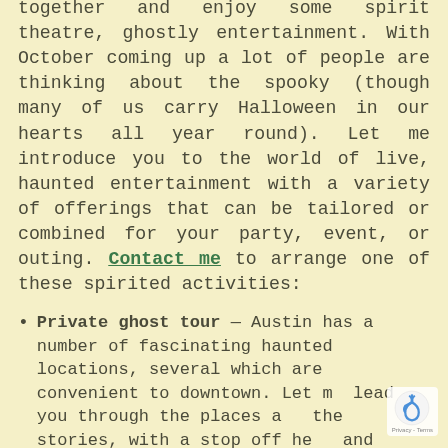together and enjoy some spirit theatre, ghostly entertainment. With October coming up a lot of people are thinking about the spooky (though many of us carry Halloween in our hearts all year round). Let me introduce you to the world of live, haunted entertainment with a variety of offerings that can be tailored or combined for your party, event, or outing. Contact me to arrange one of these spirited activities:
Private ghost tour — Austin has a number of fascinating haunted locations, several which are convenient to downtown. Let me lead you through the places and the stories, with a stop off here and there for a beverage or